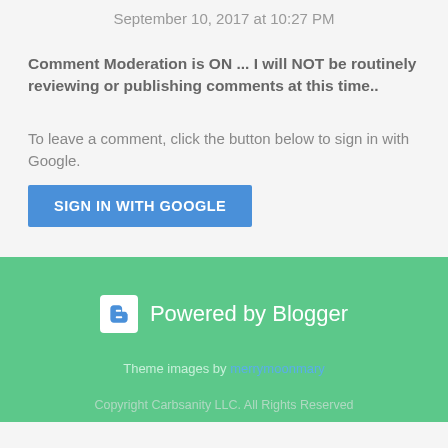September 10, 2017 at 10:27 PM
Comment Moderation is ON ... I will NOT be routinely reviewing or publishing comments at this time..
To leave a comment, click the button below to sign in with Google.
SIGN IN WITH GOOGLE
Powered by Blogger
Theme images by merrymoonmary
Copyright Carbsanity LLC. All Rights Reserved